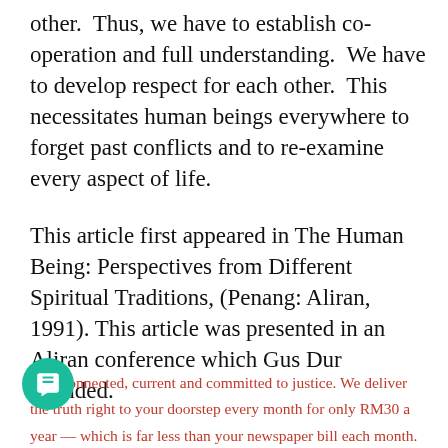other.  Thus, we have to establish co-operation and full understanding.  We have to develop respect for each other.  This necessitates human beings everywhere to forget past conflicts and to re-examine every aspect of life.
This article first appeared in The Human Being: Perspectives from Different Spiritual Traditions, (Penang: Aliran, 1991). This article was presented in an Aliran conference which Gus Dur attended.
Stay connected, current and committed to justice. We deliver the truth right to your doorstep every month for only RM30 a year — which is far less than your newspaper bill each month. All you have to do is click here.